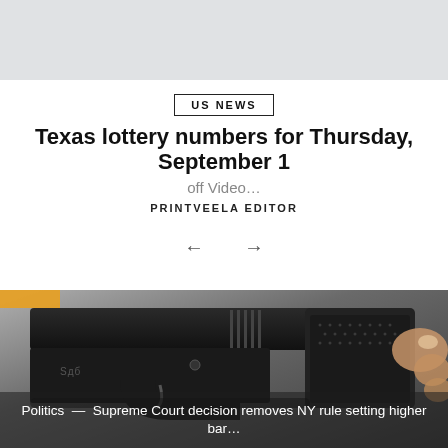US NEWS
Texas lottery numbers for Thursday, September 1
off Video...
PRINTVEELA EDITOR
[Figure (photo): Close-up photograph of a black handgun (Glock-style pistol) being held by a person's hand against a gray background.]
Politics — Supreme Court decision removes NY rule setting higher bar...